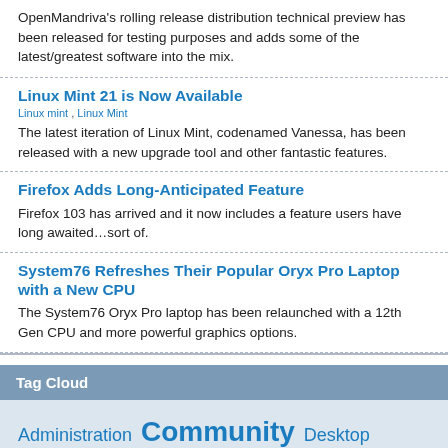OpenMandriva's rolling release distribution technical preview has been released for testing purposes and adds some of the latest/greatest software into the mix.
Linux Mint 21 is Now Available
Linux mint , Linux Mint
The latest iteration of Linux Mint, codenamed Vanessa, has been released with a new upgrade tool and other fantastic features.
Firefox Adds Long-Anticipated Feature
Firefox 103 has arrived and it now includes a feature users have long awaited…sort of.
System76 Refreshes Their Popular Oryx Pro Laptop with a New CPU
The System76 Oryx Pro laptop has been relaunched with a 12th Gen CPU and more powerful graphics options.
Tag Cloud
Administration Community Desktop Events